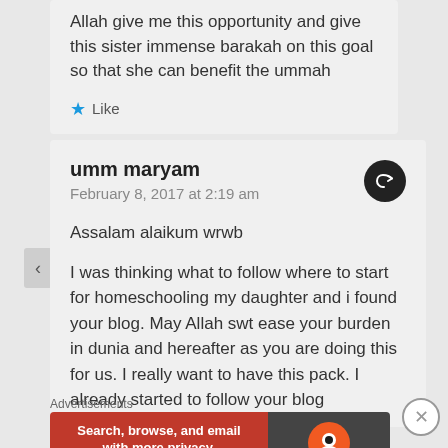Allah give me this opportunity and give this sister immense barakah on this goal so that she can benefit the ummah
Like
umm maryam
February 8, 2017 at 2:19 am
Assalam alaikum wrwb
I was thinking what to follow where to start for homeschooling my daughter and i found your blog. May Allah swt ease your burden in dunia and hereafter as you are doing this for us. I really want to have this pack. I already started to follow your blog
Advertisements
[Figure (screenshot): DuckDuckGo advertisement banner: orange/red left section with text 'Search, browse, and email with more privacy. All in One Free App' and dark right section with DuckDuckGo logo.]